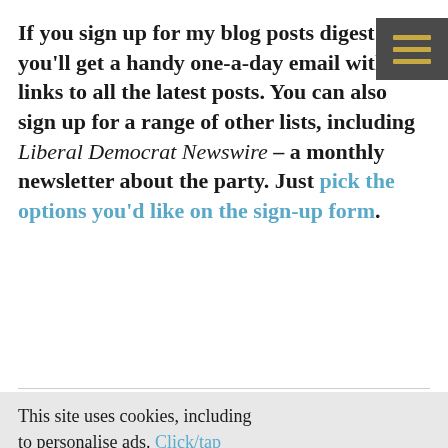If you sign up for my blog posts digest you'll get a handy one-a-day email with links to all the latest posts. You can also sign up for a range of other lists, including Liberal Democrat Newswire – a monthly newsletter about the party. Just pick the options you'd like on the sign-up form.
This site uses cookies, including to personalise ads. Click/tap here for details.
I'm happy to visit site